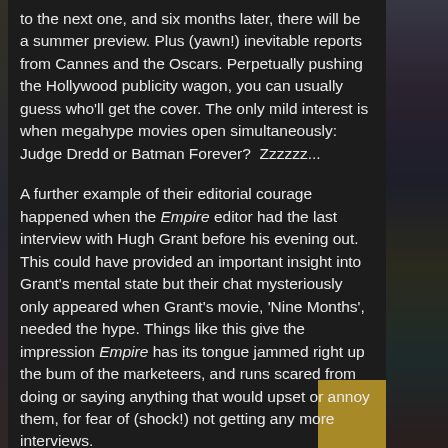to the next one, and six months later, there will be a summer preview. Plus (yawn!) inevitable reports from Cannes and the Oscars. Perpetually pushing the Hollywood publicity wagon, you can usually guess who'll get the cover. The only mild interest is when megahype movies open simultaneously: Judge Dredd or Batman Forever?  Zzzzzz...
A further example of their editorial courage happened when the Empire editor had the last interview with Hugh Grant before his evening out. This could have provided an important insight into Grant's mental state but their chat mysteriously only appeared when Grant's movie, 'Nine Months', needed the hype. Things like this give the impression Empire has its tongue jammed right up the bum of the marketeers, and runs scared from doing or saying anything that would upset or annoy them, for fear of (shock!) not getting any more interviews.
Frankly, this'd be no loss: their technique is so blandly non-confrontational you might as well read the press releases.